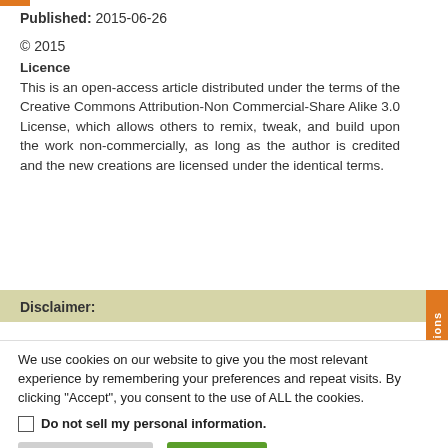Published: 2015-06-26
© 2015
Licence
This is an open-access article distributed under the terms of the Creative Commons Attribution-Non Commercial-Share Alike 3.0 License, which allows others to remix, tweak, and build upon the work non-commercially, as long as the author is credited and the new creations are licensed under the identical terms.
Disclaimer:
We use cookies on our website to give you the most relevant experience by remembering your preferences and repeat visits. By clicking "Accept", you consent to the use of ALL the cookies.
Do not sell my personal information
Cookie Settings
Accept